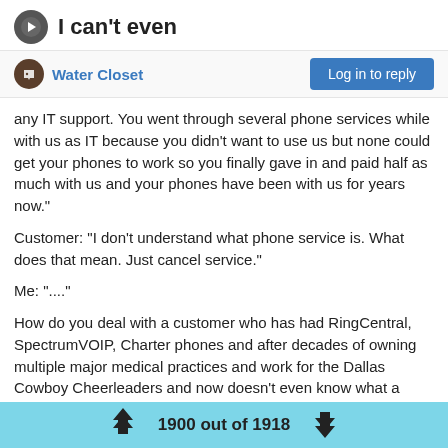I can't even
Water Closet
any IT support. You went through several phone services while with us as IT because you didn't want to use us but none could get your phones to work so you finally gave in and paid half as much with us and your phones have been with us for years now."
Customer: "I don't understand what phone service is. What does that mean. Just cancel service."
Me: "...."
How do you deal with a customer who has had RingCentral, SpectrumVOIP, Charter phones and after decades of owning multiple major medical practices and work for the Dallas Cowboy Cheerleaders and now doesn't even know what a "phone company" does? She's the owner and CIO and doesn't know that phones need service... even though she and she alone has installed and purchased every phone vendor ever for the company!!
1900 out of 1918